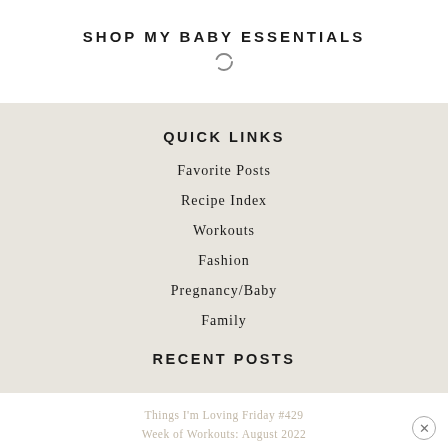SHOP MY BABY ESSENTIALS
[Figure (other): Loading spinner icon]
QUICK LINKS
Favorite Posts
Recipe Index
Workouts
Fashion
Pregnancy/Baby
Family
RECENT POSTS
Things I'm Loving Friday #429
Week of Workouts: August 2022